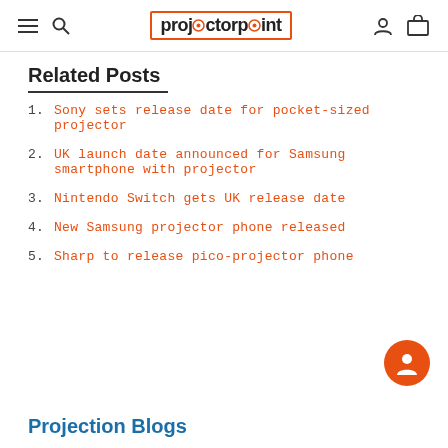projectorpoint
Related Posts
1. Sony sets release date for pocket-sized projector
2. UK launch date announced for Samsung smartphone with projector
3. Nintendo Switch gets UK release date
4. New Samsung projector phone released
5. Sharp to release pico-projector phone
Projection Blogs